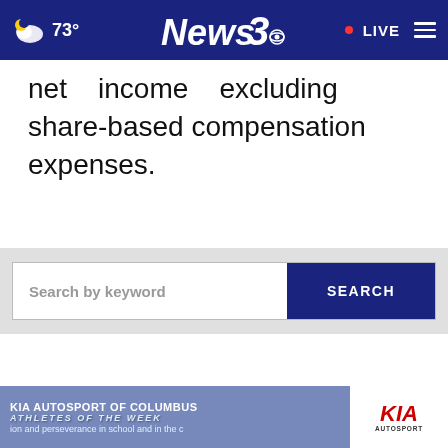73° News3 LIVE
net income excluding share-based compensation expenses.
[Figure (screenshot): Search bar with text 'Search by keyword' and a dark blue SEARCH button]
[Figure (screenshot): Attorney advertisement: 'There's only One ONE CALL THAT'S ALL' with Play Video button and close X button]
[Figure (screenshot): KIA AUTOSPORT OF COLUMBUS - ATHLETES OF THE WEEK banner advertisement with KIA AUTOSPORT logo]